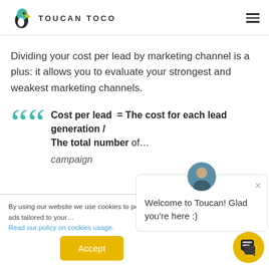TOUCAN TOCO
Dividing your cost per lead by marketing channel is a plus: it allows you to evaluate your strongest and weakest marketing channels.
Cost per lead = The cost for each lead generation / The total number … campaign
By using our website cookies to perform a ads tailored to your …
Read our policy on cookies usage.
Welcome to Toucan! Glad you're here :)
Accept